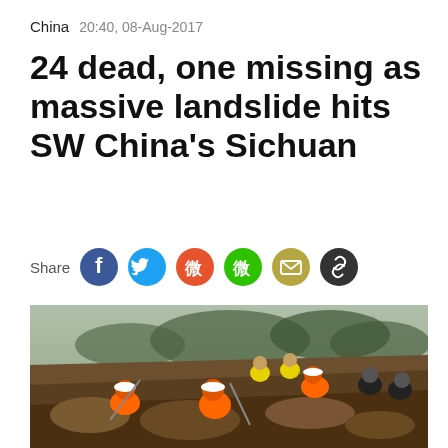China  20:40, 08-Aug-2017
24 dead, one missing as massive landslide hits SW China's Sichuan
[Figure (infographic): Social media share icons row: Share label followed by Facebook (blue), Twitter (blue), Weibo (red/orange), WeChat (green), Email (tan/gold), Link (dark grey) circular icon buttons]
[Figure (photo): Rescue workers in orange uniforms and white hard hats dig through brown muddy debris at a landslide site. Background shows more workers in yellow vests and forested hills in misty conditions.]